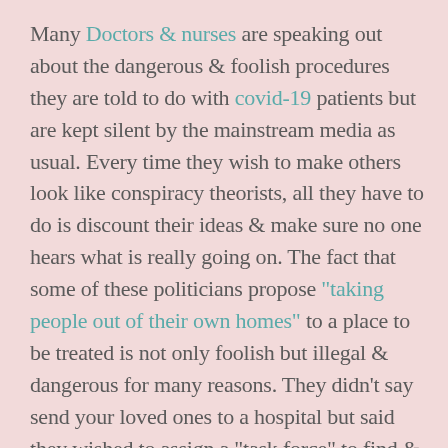Many Doctors & nurses are speaking out about the dangerous & foolish procedures they are told to do with covid-19 patients but are kept silent by the mainstream media as usual. Every time they wish to make others look like conspiracy theorists, all they have to do is discount their ideas & make sure no one hears what is really going on. The fact that some of these politicians propose “taking people out of their own homes” to a place to be treated is not only foolish but illegal & dangerous for many reasons. They didn’t say send your loved ones to a hospital but said they wished to assign a “task force” to find &